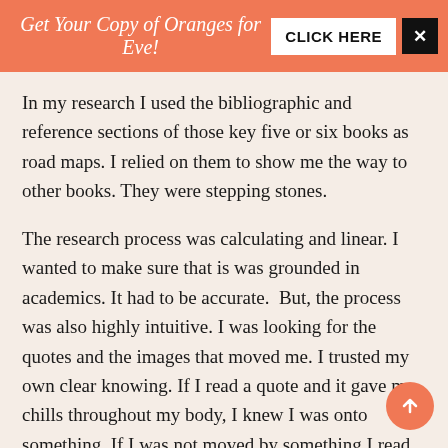Get Your Copy of Oranges for Eve! CLICK HERE ×
In my research I used the bibliographic and reference sections of those key five or six books as road maps. I relied on them to show me the way to other books. They were stepping stones.
The research process was calculating and linear. I wanted to make sure that is was grounded in academics. It had to be accurate.  But, the process was also highly intuitive. I was looking for the quotes and the images that moved me. I trusted my own clear knowing. If I read a quote and it gave me chills throughout my body, I knew I was onto something. If I was not moved by something I read or interested in it, I moved on. If I found a book that